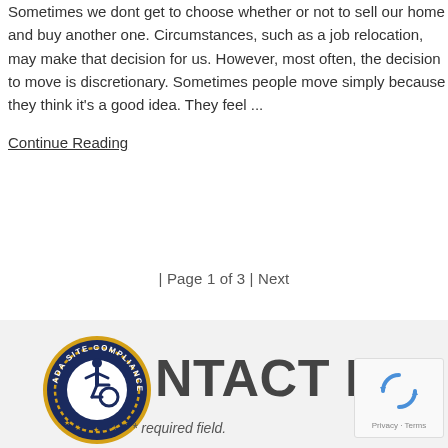Sometimes we dont get to choose whether or not to sell our home and buy another one. Circumstances, such as a job relocation, may make that decision for us. However, most often, the decision to move is discretionary. Sometimes people move simply because they think it's a good idea. They feel ...
Continue Reading
| Page 1 of 3 | Next
[Figure (logo): ADA Site Compliance badge — circular dark blue badge with gold border, wheelchair accessibility symbol in center, text reading ADA SITE COMPLIANCE around the edge with stars]
CONTACT ME
* required field.
[Figure (logo): reCAPTCHA widget box showing recycling arrows icon with Privacy · Terms text below]